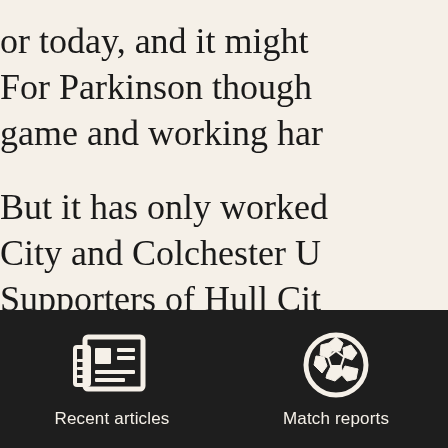or today, and it might For Parkinson though game and working har But it has only worked City and Colchester U Supporters of Hull Cit Charlton Athletic foun intractable and unadve were largely glad wher clubs because of his tac
[Figure (infographic): Dark footer navigation bar with two icon-and-label buttons: 'Recent articles' (newspaper icon) and 'Match reports' (soccer ball icon)]